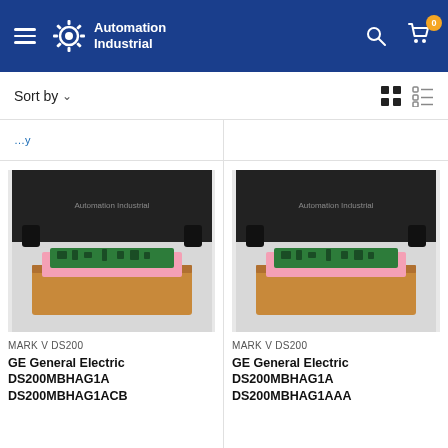Automation Industrial — Navigation header with hamburger menu, logo, search icon, cart icon (0)
Sort by ▾
[Figure (photo): GE General Electric DS200MBHAG1A industrial circuit board in cardboard box with pink anti-static foam, placed against Automation Industrial branded background]
[Figure (photo): GE General Electric DS200MBHAG1A industrial circuit board in cardboard box with pink anti-static foam, placed against Automation Industrial branded background]
MARK V DS200
GE General Electric DS200MBHAG1A DS200MBHAG1ACB
MARK V DS200
GE General Electric DS200MBHAG1A DS200MBHAG1AAA